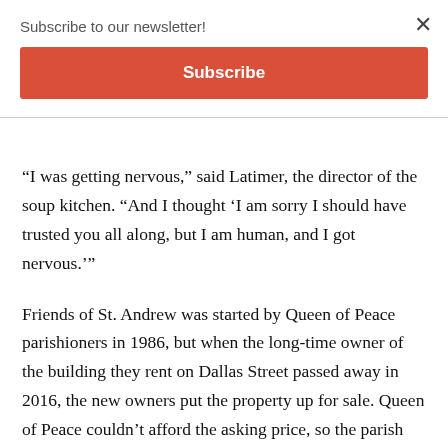Subscribe to our newsletter!
Subscribe
“I was getting nervous,” said Latimer, the director of the soup kitchen. “And I thought ‘I am sorry I should have trusted you all along, but I am human, and I got nervous.’”
Friends of St. Andrew was started by Queen of Peace parishioners in 1986, but when the long-time owner of the building they rent on Dallas Street passed away in 2016, the new owners put the property up for sale. Queen of Peace couldn’t afford the asking price, so the parish community did their best to put their faith in God